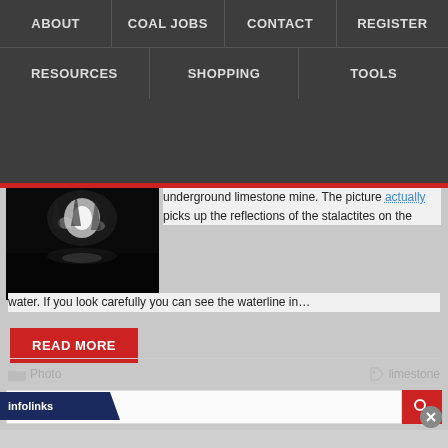ABOUT | COAL JOBS | CONTACT | REGISTER | RESOURCES | SHOPPING | TOOLS
underground limestone mine. The picture actually picks up the reflections of the stalactites on the water. If you look carefully you can see the waterline in…
READ MORE
Photo   limestone